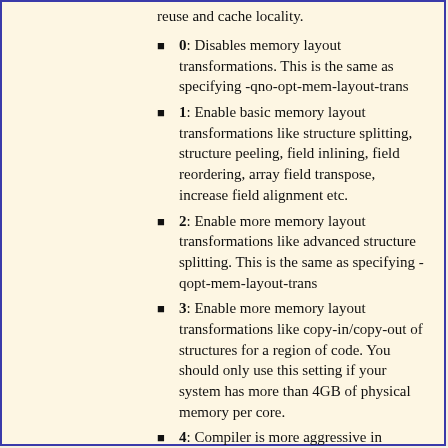reuse and cache locality.
0: Disables memory layout transformations. This is the same as specifying -qno-opt-mem-layout-trans
1: Enable basic memory layout transformations like structure splitting, structure peeling, field inlining, field reordering, array field transpose, increase field alignment etc.
2: Enable more memory layout transformations like advanced structure splitting. This is the same as specifying -qopt-mem-layout-trans
3: Enable more memory layout transformations like copy-in/copy-out of structures for a region of code. You should only use this setting if your system has more than 4GB of physical memory per core.
4: Compiler is more aggressive in